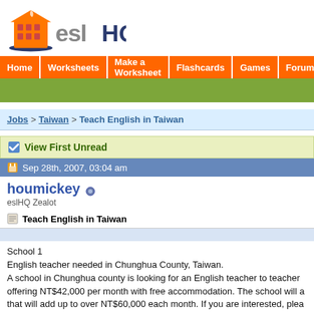[Figure (logo): eslHQ logo with orange building icon and stylized text]
Home | Worksheets | Make a Worksheet | Flashcards | Games | Forums
(green bar / banner area)
Jobs > Taiwan > Teach English in Taiwan
View First Unread
Sep 28th, 2007, 03:04 am
houmickey
eslHQ Zealot
Teach English in Taiwan
School 1
English teacher needed in Chunghua County, Taiwan.
A school in Chunghua county is looking for an English teacher to teacher offering NT$42,000 per month with free accommodation. The school will a that will add up to over NT$60,000 each month. If you are interested, plea

School 2